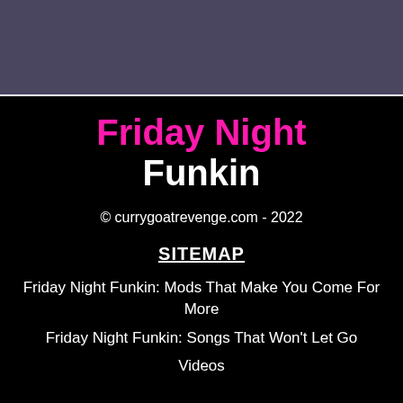Friday Night Funkin
© currygoatrevenge.com - 2022
SITEMAP
Friday Night Funkin: Mods That Make You Come For More
Friday Night Funkin: Songs That Won't Let Go
Videos